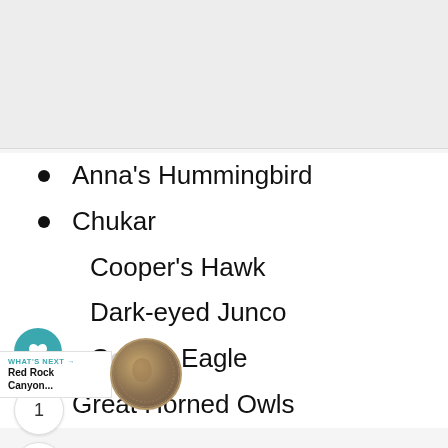[Figure (other): Gray placeholder area at top of page (image content not visible)]
Anna's Hummingbird
Chukar
Cooper's Hawk
Dark-eyed Junco
Golden Eagle
Great Horned Owls
[Figure (other): UI overlay with heart/favorite button (teal circle with heart icon), count badge showing '1', share button, 'WHAT'S NEXT → Red Rock Canyon...' navigation, and a coin/medal image]